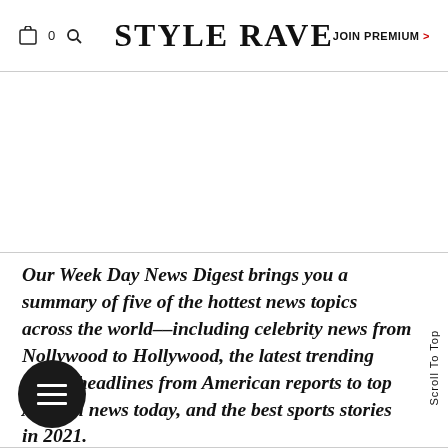0  STYLE RAVE  JOIN PREMIUM >
[Figure (other): Empty advertisement/banner area]
Our Week Day News Digest brings you a summary of five of the hottest news topics across the world—including celebrity news from Nollywood to Hollywood, the latest trending global headlines from American reports to top African news today, and the best sports stories in 2021.